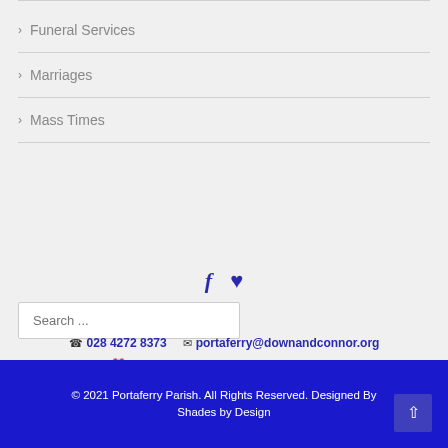> Funeral Services
> Marriages
> Mass Times
[Figure (infographic): Social media icons: Facebook (f) and a heart icon, both in dark blue]
Search ...
028 4272 8373   portaferry@downandconnor.org
Mon - Fri: 09:00 - 13:00 (Parish Office)
© 2021 Portaferry Parish. All Rights Reserved. Designed By Shades by Design